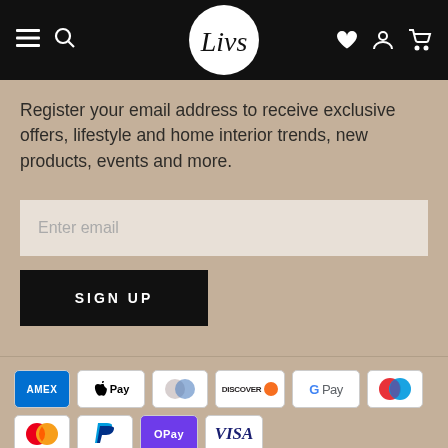[Figure (screenshot): E-commerce website header with black background, hamburger menu, search icon, circular logo reading 'Livs' in cursive, heart icon, user icon, and shopping cart icon]
Register your email address to receive exclusive offers, lifestyle and home interior trends, new products, events and more.
[Figure (screenshot): Email input field with placeholder 'Enter email' on tan/beige background]
[Figure (screenshot): Black 'SIGN UP' button]
[Figure (infographic): Payment method icons: Amex, Apple Pay, Diners Club, Discover, Google Pay, Maestro, Mastercard, PayPal, OPay, Visa]